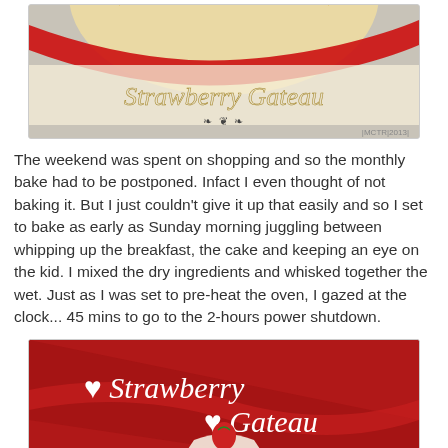[Figure (photo): Photo of a Strawberry Gateau cake top view with decorative script text 'Strawberry Gateau', red ribbon decoration, ornamental divider, and watermark [MCTR|2013]]
The weekend was spent on shopping and so the monthly bake had to be postponed. Infact I even thought of not baking it. But I just couldn't give it up that easily and so I set to bake as early as Sunday morning juggling between whipping up the breakfast, the cake and keeping an eye on the kid. I mixed the dry ingredients and whisked together the wet. Just as I was set to pre-heat the oven, I gazed at the clock... 45 mins to go to the 2-hours power shutdown.
[Figure (photo): Photo of a Strawberry Gateau with white script text '♥ Strawberry  ♥ Gateau' on red background with a cake slice visible at bottom]